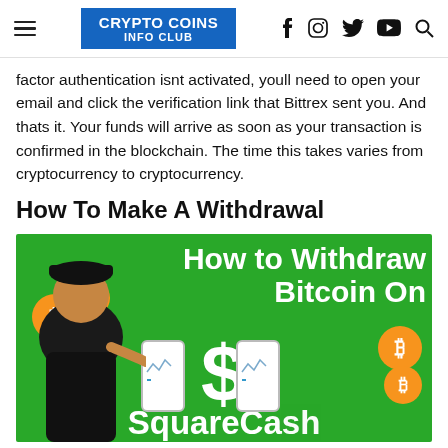CRYPTO COINS INFO CLUB
factor authentication isnt activated, youll need to open your email and click the verification link that Bittrex sent you. And thats it. Your funds will arrive as soon as your transaction is confirmed in the blockchain. The time this takes varies from cryptocurrency to cryptocurrency.
How To Make A Withdrawal
[Figure (photo): Promotional banner image with green background showing 'How to Withdraw Bitcoin On' text with a dollar sign, two smartphone mockups, Bitcoin (BTC) orange coin icons, a person in a black cap pointing, and partial text 'SquareCash' at the bottom.]